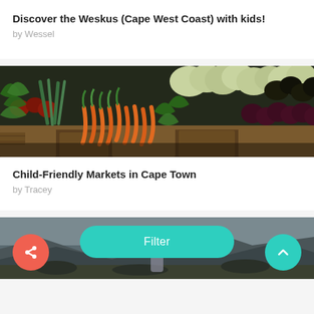Discover the Weskus (Cape West Coast) with kids!
by Wessel
[Figure (photo): Colorful vegetable and produce market stall with carrots, leafy greens, cauliflower, beets, and various vegetables displayed in abundance]
Child-Friendly Markets in Cape Town
by Tracey
[Figure (photo): Outdoor rocky mountain landscape with a person visible, partially cut off at the bottom of the page]
Filter